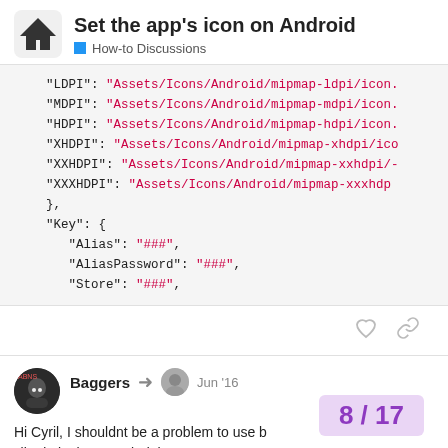Set the app's icon on Android — How-to Discussions
"LDPI": "Assets/Icons/Android/mipmap-ldpi/icon."
"MDPI": "Assets/Icons/Android/mipmap-mdpi/icon."
"HDPI": "Assets/Icons/Android/mipmap-hdpi/icon."
"XHDPI": "Assets/Icons/Android/mipmap-xhdpi/ico"
"XXHDPI": "Assets/Icons/Android/mipmap-xxhdpi/-"
"XXXHDPI": "Assets/Icons/Android/mipmap-xxxhdp"
},
"Key": {
  "Alias": "###",
  "AliasPassword": "###",
  "Store": "###",
Baggers — Jun '16
Hi Cyril, I shouldnt be a problem to use b
I'll admit I havent tried that yet. A coup